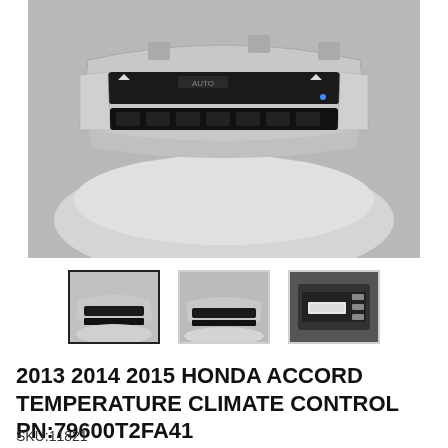[Figure (photo): Honda Accord climate control panel, silver/chrome finish with black button strip, sitting on a round white/grey surface]
[Figure (photo): Thumbnail 1: front view of the climate control panel, selected]
[Figure (photo): Thumbnail 2: angled view of the climate control panel]
[Figure (photo): Thumbnail 3: back/underside view of the climate control panel]
2013 2014 2015 HONDA ACCORD TEMPERATURE CLIMATE CONTROL PN:79600T2FA41
SKU:11821